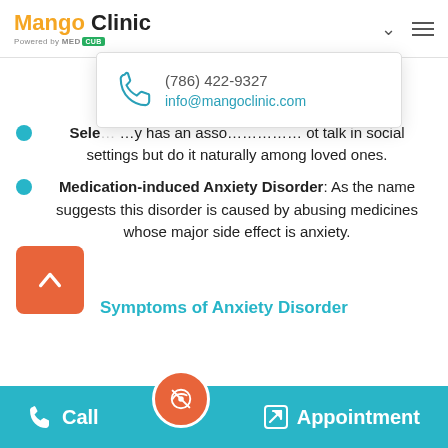Mango Clinic | Powered by MED CUB
[Figure (screenshot): Dropdown contact popup showing phone icon, phone number (786) 422-9327 and email info@mangoclinic.com]
Selective Mutism: This anxiety has an associated symptom of not talk in social settings but do it naturally among loved ones.
Medication-induced Anxiety Disorder: As the name suggests this disorder is caused by abusing medicines whose major side effect is anxiety.
Symptoms of Anxiety Disorder
Call | Appointment